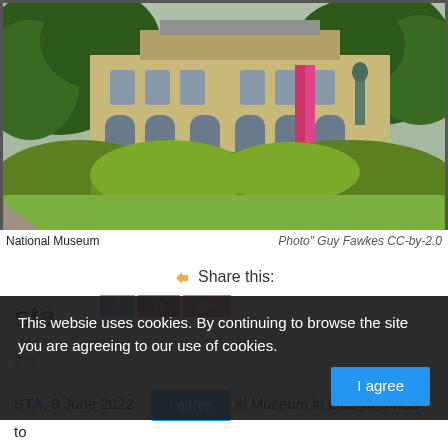[Figure (photo): Exterior view of the National Museum building in Ljubljana, surrounded by green trees and shrubs, with a statue visible on the right side. A pink/red banner hangs on the building facade.]
National Museum   Photo" Guy Fawkes CC-by-2.0
Share this:
This websie uses cookies. By continuing to browse the site you are agreeing to our use of cookies.
I agree
STA, 8 June 2022 - al Museum in Ljubljana was to put on display tonight 160 works of art from a private